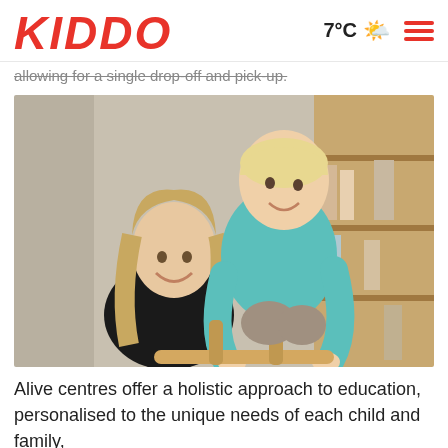KIDDO | 7°C 🌤️ ☰
allowing for a single drop-off and pick-up.
[Figure (photo): A smiling woman with blonde hair wearing a black top, with a toddler in a teal/turquoise sweater climbing on a wooden ladder structure. Background shows wooden shelving in a childcare centre.]
Alive centres offer a holistic approach to education, personalised to the unique needs of each child and family,